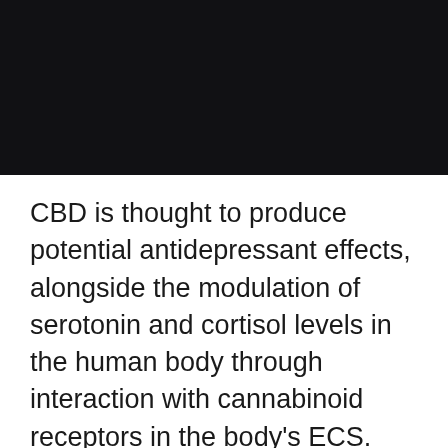[Figure (photo): Dark/black rectangular image block at the top of the page, likely a photo with very dark or black content.]
CBD is thought to produce potential antidepressant effects, alongside the modulation of serotonin and cortisol levels in the human body through interaction with cannabinoid receptors in the body's ECS. Studies and anecdotal evidence provide knowledge that CBD shows great potential to improve users' holistic well-being and emotional state. CBD is quickly rising in popularity amongst those who suffer from pain, discomfort, and inflammation due to health issues. Believed to contain anti-inflammatory properties, CBD is purported to